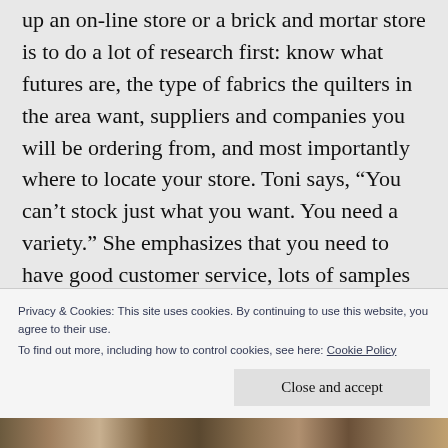up an on-line store or a brick and mortar store is to do a lot of research first: know what futures are, the type of fabrics the quilters in the area want, suppliers and companies you will be ordering from, and most importantly where to locate your store. Toni says, “You can’t stock just what you want. You need a variety.” She emphasizes that you need to have good customer service, lots of samples on the walls, and most importantly, “It’s location,
Privacy & Cookies: This site uses cookies. By continuing to use this website, you agree to their use.
To find out more, including how to control cookies, see here: Cookie Policy
[Figure (photo): A photo strip at the bottom of the page showing a quilt store interior with fabric bolts and shelving.]